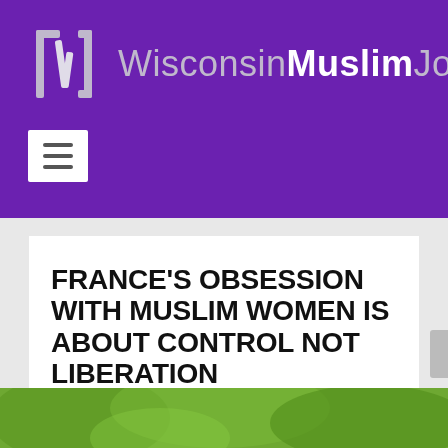WisconsinMuslimJournal.org
FRANCE'S OBSESSION WITH MUSLIM WOMEN IS ABOUT CONTROL NOT LIBERATION
Posted by Wisconsin Muslim Journal | Apr 16, 2019 | Syndicated
[Figure (photo): Photo of Muslim women outdoors with green foliage background]